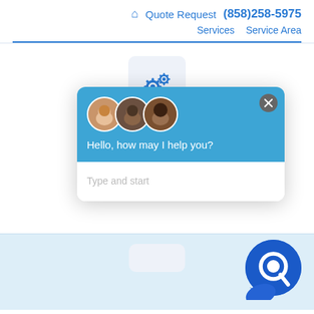🏠 Quote Request (858)258-5975 Services Service Area
[Figure (screenshot): Website screenshot showing a service page with a gear icon, partial heading 'Rinnai A... Mount...', and a live chat overlay widget with avatars, message 'Hello, how may I help you?', and a text input field 'Type and start'. A blue chat bubble icon appears in the lower section.]